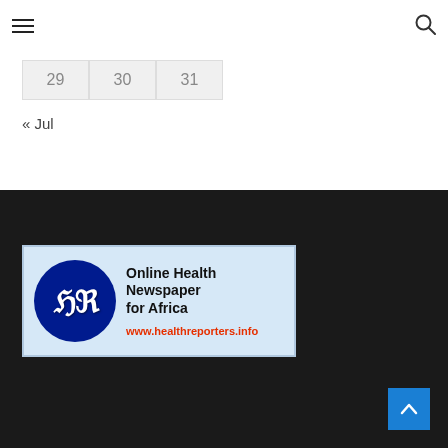≡  [search icon]
| 29 | 30 | 31 |
« Jul
[Figure (logo): Health Reporters logo banner: dark blue circle with stylized HR letters, text 'Online Health Newspaper for Africa', URL www.healthreporters.info]
Back to top button